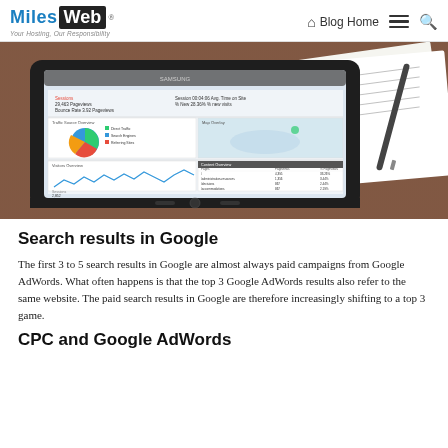MilesWeb® Blog Home
[Figure (photo): Samsung tablet showing a Google Analytics dashboard with pie chart and line graph, placed on a wooden desk alongside printed reports and a stylus pen.]
Search results in Google
The first 3 to 5 search results in Google are almost always paid campaigns from Google AdWords. What often happens is that the top 3 Google AdWords results also refer to the same website. The paid search results in Google are therefore increasingly shifting to a top 3 game.
CPC and Google AdWords